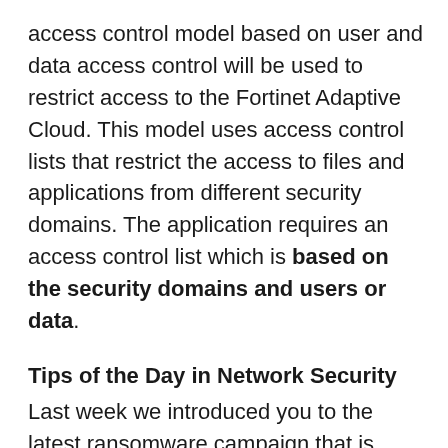access control model based on user and data access control will be used to restrict access to the Fortinet Adaptive Cloud. This model uses access control lists that restrict the access to files and applications from different security domains. The application requires an access control list which is based on the security domains and users or data.
Tips of the Day in Network Security
Last week we introduced you to the latest ransomware campaign that is gaining momentum because it is evolving from just an extortion attack to a new form of business data